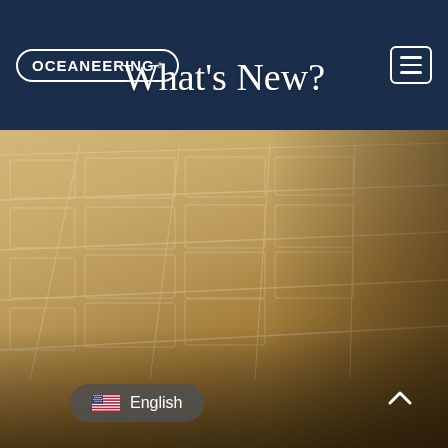OCEANEERING®
What's New?
[Figure (photo): Blurred background photo of an industrial warehouse or storage facility with warm amber/yellow tones, showing shelves or equipment with a person partially visible on the right side.]
English